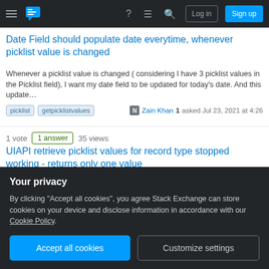Stack Exchange navigation bar with Log in and Sign up buttons
Date Field should populate date everytime, whenever picklist value is changed
Whenever a picklist value is changed ( considering I have 3 picklist values in the Picklist field), I want my date field to be updated for today's date. And this update…
picklist   getpicklistvalues   Zain Khan 1 asked Jul 23, 2021 at 4:26
1 vote   1 answer   35 views
UIAPI retrieve picklist values for record type stopped working - returns only one value
I have an aura component that's been working for years. It calls the uiapi to retrieve and display a multi-picklist based on the available picklist values for a specific cont…
aura   ui-api   getpicklistvalues
Your privacy
By clicking "Accept all cookies", you agree Stack Exchange can store cookies on your device and disclose information in accordance with our Cookie Policy.
We are using the salesforce API to consume picklist fields and display it on a